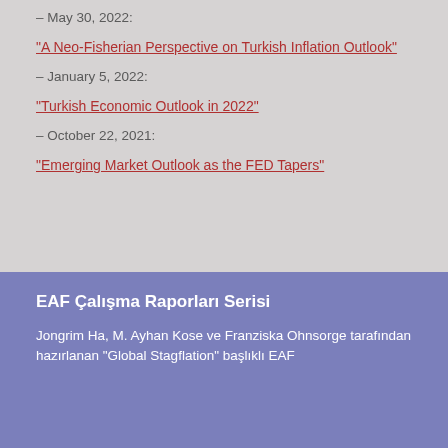– May 30, 2022:
“A Neo-Fisherian Perspective on Turkish Inflation Outlook”
– January 5, 2022:
“Turkish Economic Outlook in 2022”
– October 22, 2021:
“Emerging Market Outlook as the FED Tapers”
EAF Çalışma Raporları Serisi
Jongrim Ha, M. Ayhan Kose ve Franziska Ohnsorge tarafından hazırlanan “Global Stagflation” başlıklı EAF